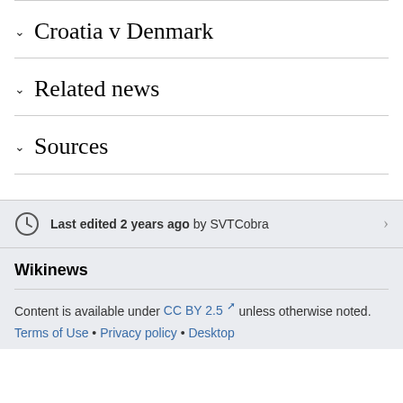Croatia v Denmark
Related news
Sources
Last edited 2 years ago by SVTCobra
Wikinews
Content is available under CC BY 2.5 unless otherwise noted.
Terms of Use • Privacy policy • Desktop